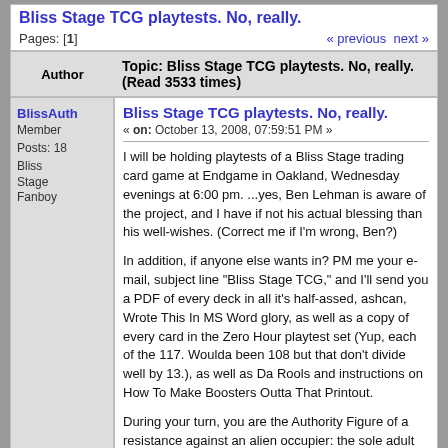Bliss Stage TCG playtests. No, really.
Pages: [1]   « previous next »
| Author | Topic: Bliss Stage TCG playtests. No, really. (Read 3533 times) |
| --- | --- |
| BlissAuth
Member
Posts: 18
Bliss Stage Fanboy | Bliss Stage TCG playtests. No, really.
« on: October 13, 2008, 07:59:51 PM »

I will be holding playtests of a Bliss Stage trading card game at Endgame in Oakland, Wednesday evenings at 6:00 pm. ...yes, Ben Lehman is aware of the project, and I have if not his actual blessing than his well-wishes. (Correct me if I'm wrong, Ben?)

In addition, if anyone else wants in? PM me your e-mail, subject line "Bliss Stage TCG," and I'll send you a PDF of every deck in all it's half-assed, ashcan, Wrote This In MS Word glory, as well as a copy of every card in the Zero Hour playtest set (Yup, each of the 117. Woulda been 108 but that don't divide well by 13.), as well as Da Rools and instructions on How To Make Boosters Outta That Printout.

During your turn, you are the Authority Figure of a resistance against an alien occupier: the sole adult survivor of the alien attack known as the Bliss for miles around. You know that you don't have long before the Bliss will take |